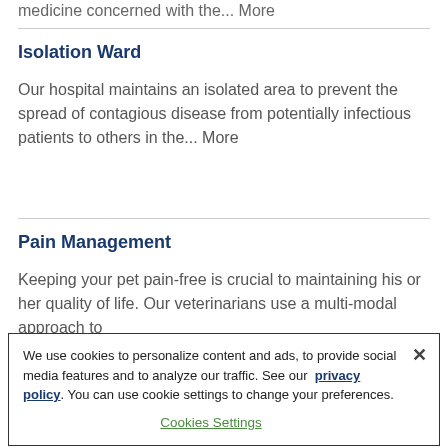medicine concerned with the... More
Isolation Ward
Our hospital maintains an isolated area to prevent the spread of contagious disease from potentially infectious patients to others in the... More
Pain Management
Keeping your pet pain-free is crucial to maintaining his or her quality of life. Our veterinarians use a multi-modal approach to
We use cookies to personalize content and ads, to provide social media features and to analyze our traffic. See our privacy policy. You can use cookie settings to change your preferences. Cookies Settings